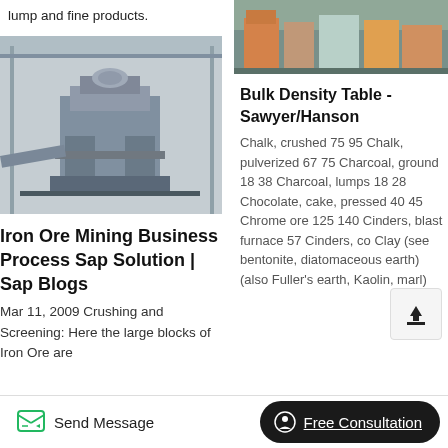lump and fine products.
[Figure (photo): Industrial mining/crushing machine inside a factory building]
Iron Ore Mining Business Process Sap Solution | Sap Blogs
Mar 11, 2009 Crushing and Screening: Here the large blocks of Iron Ore are
[Figure (photo): Multiple large industrial crusher machines on a factory floor]
Bulk Density Table - Sawyer/Hanson
Chalk, crushed 75 95 Chalk, pulverized 67 75 Charcoal, ground 18 38 Charcoal, lumps 18 28 Chocolate, cake, pressed 40 45 Chrome ore 125 140 Cinders, blast furnace 57 Cinders, co Clay (see bentonite, diatomaceous earth) (also Fuller's earth, Kaolin, marl)